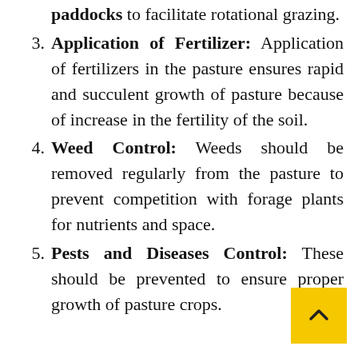paddocks to facilitate rotational grazing.
3. Application of Fertilizer: Application of fertilizers in the pasture ensures rapid and succulent growth of pasture because of increase in the fertility of the soil.
4. Weed Control: Weeds should be removed regularly from the pasture to prevent competition with forage plants for nutrients and space.
5. Pests and Diseases Control: These should be prevented to ensure proper growth of pasture crops.